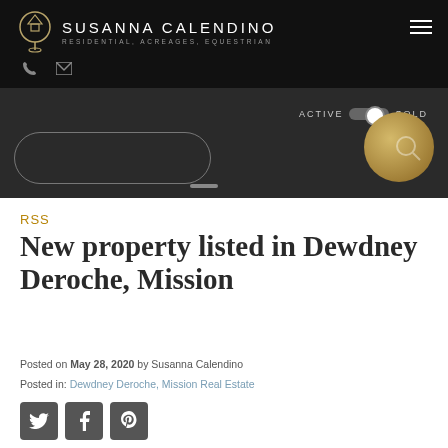SUSANNA CALENDINO — RESIDENTIAL, ACREAGES, EQUESTRIAN
[Figure (screenshot): Hero dark banner with ACTIVE/SOLD toggle, search oval, and gold circle element]
RSS
New property listed in Dewdney Deroche, Mission
Posted on May 28, 2020 by Susanna Calendino
Posted in: Dewdney Deroche, Mission Real Estate
[Figure (infographic): Social sharing buttons: Twitter, Facebook, Pinterest]